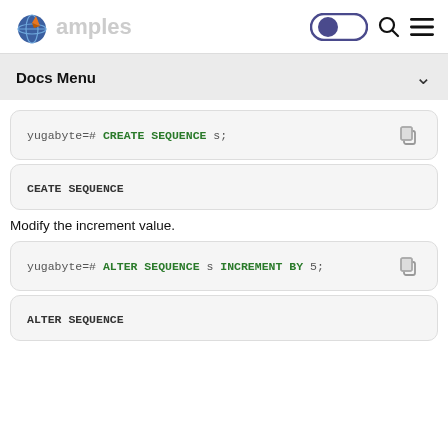Examples
Docs Menu
yugabyte=# CREATE SEQUENCE s;
CEATE SEQUENCE
Modify the increment value.
yugabyte=# ALTER SEQUENCE s INCREMENT BY 5;
ALTER SEQUENCE